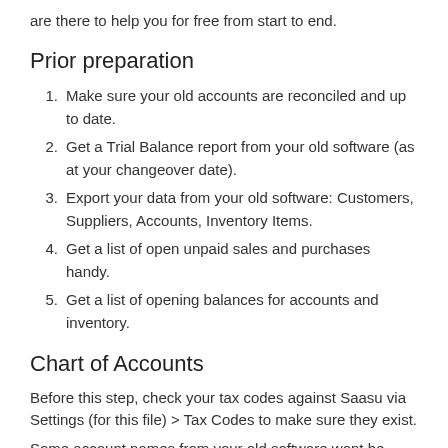are there to help you for free from start to end.
Prior preparation
1. Make sure your old accounts are reconciled and up to date.
2. Get a Trial Balance report from your old software (as at your changeover date).
3. Export your data from your old software: Customers, Suppliers, Accounts, Inventory Items.
4. Get a list of open unpaid sales and purchases handy.
5. Get a list of opening balances for accounts and inventory.
Chart of Accounts
Before this step, check your tax codes against Saasu via Settings (for this file) > Tax Codes to make sure they exist.
Some account names from your old software wont be used so